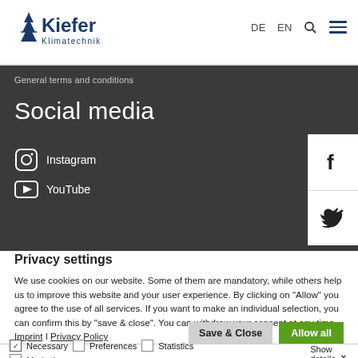[Figure (logo): Kiefer Klimatechnik logo with snowflake icon and company name]
DE  EN  🔍  ☰
General terms and conditions
Social media
Instagram
YouTube
[Figure (other): Facebook and Twitter social media icons in white sidebar]
Privacy settings
We use cookies on our website. Some of them are mandatory, while others help us to improve this website and your user experience. By clicking on "Allow" you agree to the use of all services. If you want to make an individual selection, you can confirm this by "save & close". You can withdraw your consent at any time. Imprint | Privacy Policy
Save & Close  Allow all
✓ Necessary  ☐ Preferences  ☐ Statistics  ☐ Marketing  Show details ∨